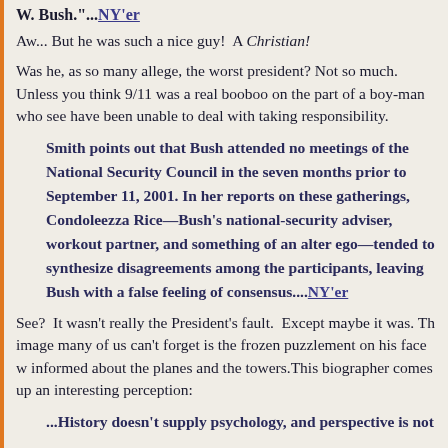W. Bush."...NY'er
Aw... But he was such a nice guy!  A Christian!
Was he, as so many allege, the worst president? Not so much.  Unless you think 9/11 was a real booboo on the part of a boy-man who seems to have been unable to deal with taking responsibility.
Smith points out that Bush attended no meetings of the National Security Council in the seven months prior to September 11, 2001. In her reports on these gatherings, Condoleezza Rice—Bush's national-security adviser, workout partner, and something of an alter ego—tended to synthesize disagreements among the participants, leaving Bush with a false feeling of consensus....NY'er
See?  It wasn't really the President's fault.  Except maybe it was. The image many of us can't forget is the frozen puzzlement on his face when informed about the planes and the towers.This biographer comes up with an interesting perception:
...History doesn't supply psychology, and perspective is not